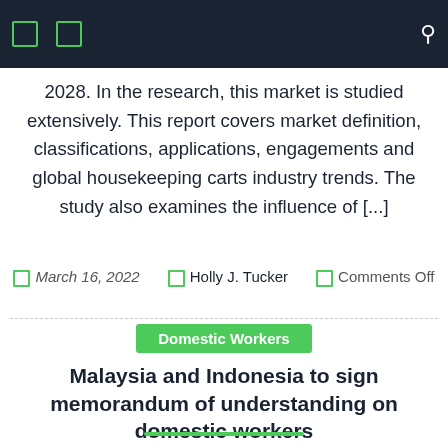Navigation bar with icons
2028. In the research, this market is studied extensively. This report covers market definition, classifications, applications, engagements and global housekeeping carts industry trends. The study also examines the influence of [...]
March 16, 2022  Holly J. Tucker  Comments Off
Domestic Workers
Malaysia and Indonesia to sign memorandum of understanding on domestic workers
Malaysian Human Resources Minister Saravanan Murugan. THE STAR The Memorandum of Understanding (MoU) on the recruitment and placement of Indonesian domestic workers [...]